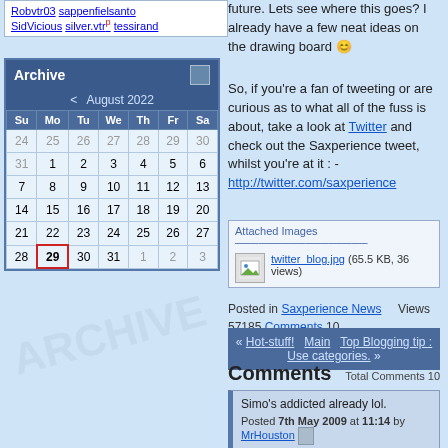Robvtr03 sappenfielsanto SidVicious silver.vtr tessirand
| Su | Mo | Tu | We | Th | Fr | Sa |
| --- | --- | --- | --- | --- | --- | --- |
| 24 | 25 | 26 | 27 | 28 | 29 | 30 |
| 31 | 1 | 2 | 3 | 4 | 5 | 6 |
| 7 | 8 | 9 | 10 | 11 | 12 | 13 |
| 14 | 15 | 16 | 17 | 18 | 19 | 20 |
| 21 | 22 | 23 | 24 | 25 | 26 | 27 |
| 28 | 29 | 30 | 31 | 1 | 2 | 3 |
future. Lets see where this goes? I already have a few neat ideas on the drawing board 🙂
So, if you're a fan of tweeting or are curious as to what all of the fuss is about, take a look at Twitter and check out the Saxperience tweet, whilst you're at it : - http://twitter.com/saxperience
Attached Images twitter_blog.jpg (65.5 KB, 36 views)
Posted in Saxperience News Views 57185 Comments 10
« Hot-stuff! Main Top Blogging tip : Use categories. »
Comments Total Comments 10
Simo's addicted already lol.
Posted 7th May 2009 at 11:14 by MrHouston